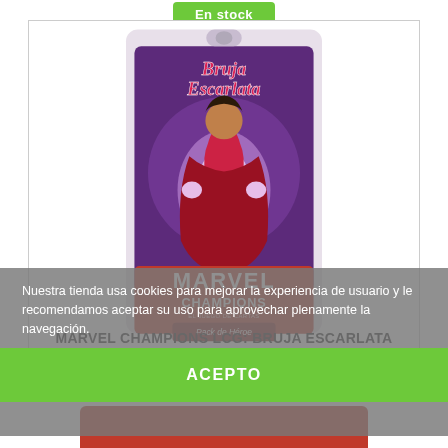[Figure (screenshot): Green 'En stock' availability button at top center of page]
[Figure (photo): Marvel Champions LCG: Bruja Escarlata hero pack card game box showing Scarlet Witch character with purple mystical energy background, MARVEL CHAMPIONS logo and 'Pack de Héroe' label]
Nuestra tienda usa cookies para mejorar la experiencia de usuario y le recomendamos aceptar su uso para aprovechar plenamente la navegación.
Más información   Gestionar cookies
MARVEL CHAMPIONS LCG: BRUJA ESCARLATA
-10%
ACEPTO